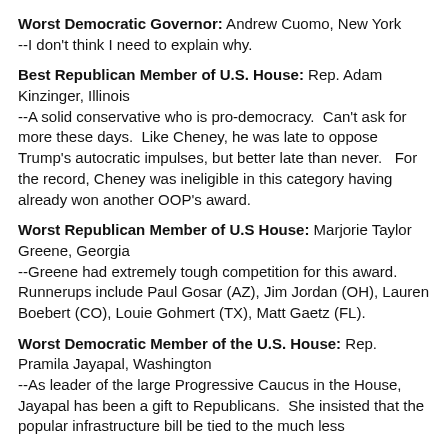Worst Democratic Governor: Andrew Cuomo, New York --I don't think I need to explain why.
Best Republican Member of U.S. House: Rep. Adam Kinzinger, Illinois --A solid conservative who is pro-democracy.  Can't ask for more these days.  Like Cheney, he was late to oppose Trump's autocratic impulses, but better late than never.   For the record, Cheney was ineligible in this category having already won another OOP's award.
Worst Republican Member of U.S House: Marjorie Taylor Greene, Georgia --Greene had extremely tough competition for this award.  Runnerups include Paul Gosar (AZ), Jim Jordan (OH), Lauren Boebert (CO), Louie Gohmert (TX), Matt Gaetz (FL).
Worst Democratic Member of the U.S. House: Rep. Pramila Jayapal, Washington --As leader of the large Progressive Caucus in the House, Jayapal has been a gift to Republicans.  She insisted that the popular infrastructure bill be tied to the much less